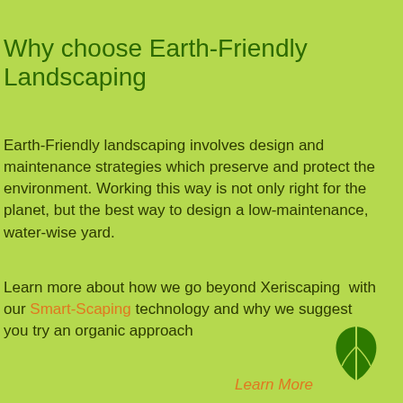Why choose Earth-Friendly Landscaping
Earth-Friendly landscaping involves design and maintenance strategies which preserve and protect the environment. Working this way is not only right for the planet, but the best way to design a low-maintenance, water-wise yard.
Learn more about how we go beyond Xeriscaping with our Smart-Scaping technology and why we suggest you try an organic approach
[Figure (illustration): Green leaf logo icon]
Learn More